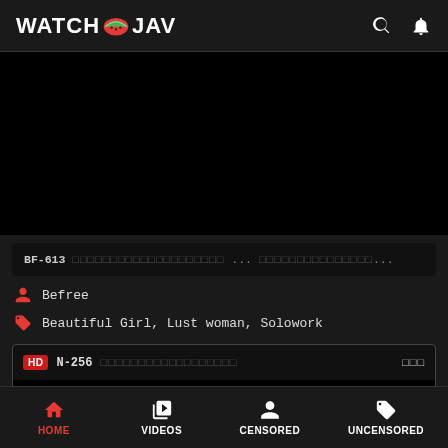WATCH JAV
[Figure (screenshot): Black video player area]
BF-613 [Japanese characters] ... [Japanese characters]...
Befree
Beautiful Girl, Lust woman, Solowork
HD N-256 [Japanese characters] [Japanese characters]
HOME  VIDEOS  CENSORED  UNCENSORED